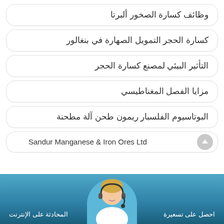وظائف كسارة الصخور ألبرتا
كسارة الحجر التمويل الصهارة في بنغالور
التأثير البيئي لمصنع كسارة الحجر
مزايا الفصل المغناطيسي
البوتاسيوم الفلسبار ريمون طحن آلة مطحنة
Sandur Manganese & Iron Ores Ltd
المحادثة على الإنترنت
احصل على تسعيرة